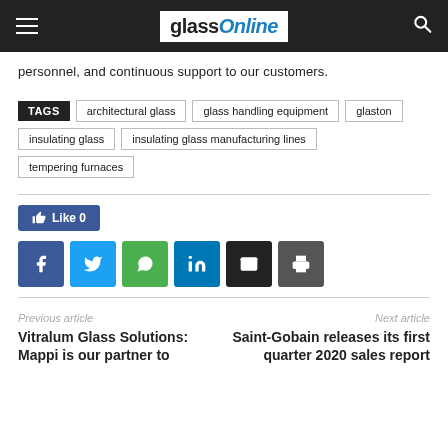glassOnline
personnel, and continuous support to our customers.
TAGS  architectural glass  glass handling equipment  glaston  insulating glass  insulating glass manufacturing lines  tempering furnaces
[Figure (other): Like 0 button and social sharing buttons: Facebook, Twitter, WhatsApp, LinkedIn, Email, Print]
Previous article
Vitralum Glass Solutions: Mappi is our partner to
Next article
Saint-Gobain releases its first quarter 2020 sales report